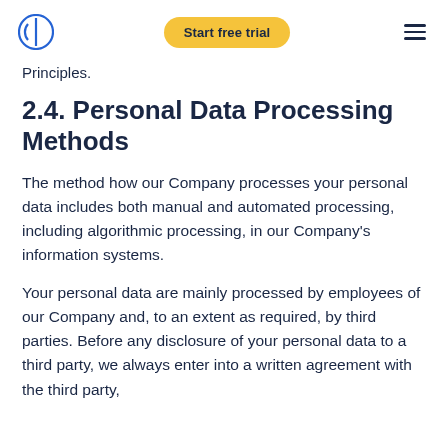Start free trial
Principles.
2.4. Personal Data Processing Methods
The method how our Company processes your personal data includes both manual and automated processing, including algorithmic processing, in our Company's information systems.
Your personal data are mainly processed by employees of our Company and, to an extent as required, by third parties. Before any disclosure of your personal data to a third party, we always enter into a written agreement with the third party,